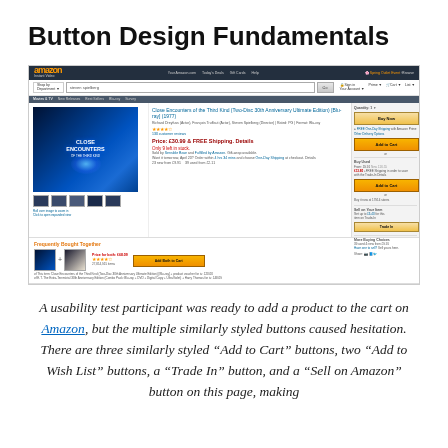Button Design Fundamentals
[Figure (screenshot): Screenshot of an Amazon product page showing 'Close Encounters of the Third Kind (Two-Disc 30th Anniversary Ultimate Edition) [Blu-ray] (1977)' with multiple similarly styled buttons including 'Buy Now', 'Add to Cart', 'Add to Wish List', 'Trade In', and 'Sell on Amazon' buttons, plus 'Frequently Bought Together' and 'What Other Items Do Customers Buy After Viewing This Item?' sections.]
A usability test participant was ready to add a product to the cart on Amazon, but the multiple similarly styled buttons caused hesitation. There are three similarly styled “Add to Cart” buttons, two “Add to Wish List” buttons, a “Trade In” button, and a “Sell on Amazon” button on this page, making